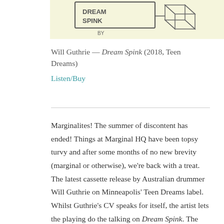[Figure (illustration): Hand-drawn illustration of 'Dream Spink' text in a box with geometric 3D shapes, on a light yellow background. Partial view showing bottom portion of the illustration.]
Will Guthrie — Dream Spink (2018, Teen Dreams)
Listen/Buy
Marginalites! The summer of discontent has ended! Things at Marginal HQ have been topsy turvy and after some months of no new brevity (marginal or otherwise), we're back with a treat. The latest cassette release by Australian drummer Will Guthrie on Minneapolis' Teen Dreams label. Whilst Guthrie's CV speaks for itself, the artist lets the playing do the talking on Dream Spink. The work consists primarily of a solo drum piece recorded at Cafe Oto earlier